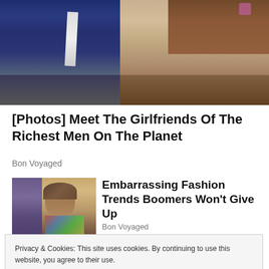[Figure (photo): Two people seated side by side — a man in a dark blue suit with a white tie on the left, and a woman in a lace patterned top on the right with long brown hair. Photo is cropped showing torsos and laps.]
[Photos] Meet The Girlfriends Of The Richest Men On The Planet
Bon Voyaged
[Figure (photo): Thumbnail showing two sub-images: a partial person on the left and a smiling woman with short brown hair on the right, wearing a colorful top.]
Embarrassing Fashion Trends Boomers Won't Give Up
Bon Voyaged
Privacy & Cookies: This site uses cookies. By continuing to use this website, you agree to their use.
To find out more, including how to control cookies, see here: Cookie Policy
Close and accept